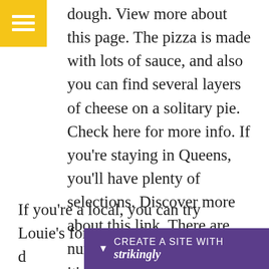[Figure (other): Yellow hamburger menu button in top-left corner]
being a huge part of the meal, it is a solitary layer dough. View more about this page. The pizza is made with lots of sauce, and also you can find several layers of cheese on a solitary pie. Check here for more info. If you're staying in Queens, you'll have plenty of selections. Discover more about this link. There are numerous pizza chains, and it's important to discover the most effective one near you. Check it out! this site.
If you're a local, you can try Louie's for some of the d...lf you'r...
[Figure (other): Purple banner at bottom reading CREATE A SITE WITH strikingly]